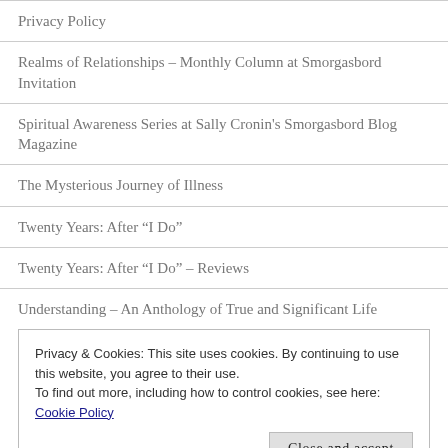Privacy Policy
Realms of Relationships – Monthly Column at Smorgasbord Invitation
Spiritual Awareness Series at Sally Cronin's Smorgasbord Blog Magazine
The Mysterious Journey of Illness
Twenty Years: After “I Do”
Twenty Years: After “I Do” – Reviews
Understanding – An Anthology of True and Significant Life
Privacy & Cookies: This site uses cookies. By continuing to use this website, you agree to their use.
To find out more, including how to control cookies, see here: Cookie Policy
Close and accept